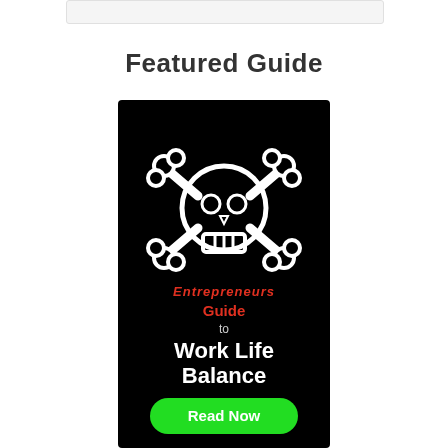Featured Guide
[Figure (illustration): Book cover with black background featuring a skull and crossbones icon in white, text 'Entrepreneurs Guide to Work Life Balance' in red and white, and a green 'Read Now' button at the bottom.]